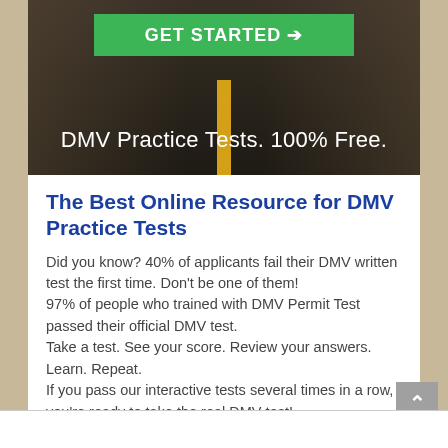[Figure (photo): Aerial view of a dark road with yellow center line and a green GET STARTED button above text reading DMV Practice Tests. 100% Free.]
The Best Online Resource for DMV Practice Tests
Did you know? 40% of applicants fail their DMV written test the first time. Don't be one of them!
97% of people who trained with DMV Permit Test passed their official DMV test.
Take a test. See your score. Review your answers. Learn. Repeat.
If you pass our interactive tests several times in a row, you're ready to take the real DMV test!